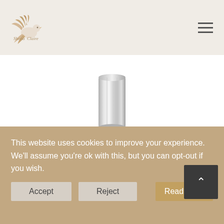[Figure (logo): Shona Claire brand logo with stylized bird/dove illustration and italic serif text]
[Figure (photo): A silver/chrome cylindrical tumbler or pen holder product image on white background]
Get this Product
£38.00  Only 1 left in stock
Only 1 left in stock
This website uses cookies to improve your experience. We'll assume you're ok with this, but you can opt-out if you wish.  Read More
Accept
Reject